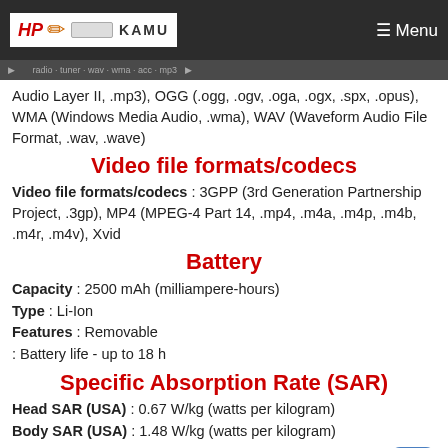HP KAMU | Menu
Audio Layer II, .mp3), OGG (.ogg, .ogv, .oga, .ogx, .spx, .opus), WMA (Windows Media Audio, .wma), WAV (Waveform Audio File Format, .wav, .wave)
Video file formats/codecs
Video file formats/codecs : 3GPP (3rd Generation Partnership Project, .3gp), MP4 (MPEG-4 Part 14, .mp4, .m4a, .m4p, .m4b, .m4r, .m4v), Xvid
Battery
Capacity : 2500 mAh (milliampere-hours)
Type : Li-Ion
Features : Removable
: Battery life - up to 18 h
Specific Absorption Rate (SAR)
Head SAR (USA) : 0.67 W/kg (watts per kilogram)
Body SAR (USA) : 1.48 W/kg (watts per kilogram)
No related post available
0 Comments